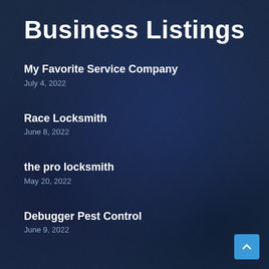Business Listings
My Favorite Service Company
July 4, 2022
Race Locksmith
June 8, 2022
the pro locksmith
May 20, 2022
Debugger Pest Control
June 9, 2022